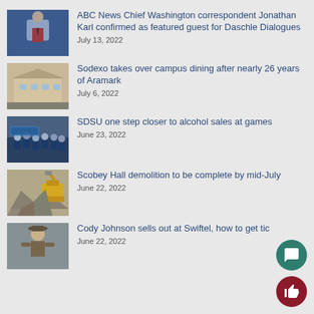ABC News Chief Washington correspondent Jonathan Karl confirmed as featured guest for Daschle Dialogues
July 13, 2022
Sodexo takes over campus dining after nearly 26 years of Aramark
July 6, 2022
SDSU one step closer to alcohol sales at games
June 23, 2022
Scobey Hall demolition to be complete by mid-July
June 22, 2022
Cody Johnson sells out at Swiftel, how to get tic...
June 22, 2022